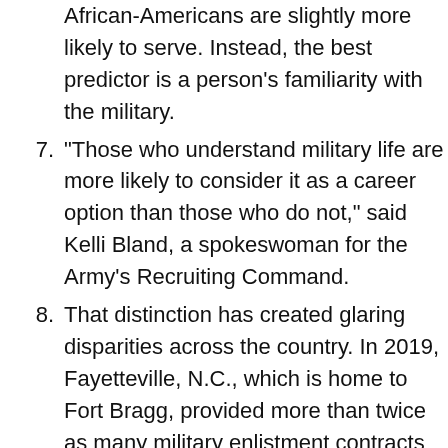African-Americans are slightly more likely to serve. Instead, the best predictor is a person's familiarity with the military.
7. “Those who understand military life are more likely to consider it as a career option than those who do not,” said Kelli Bland, a spokeswoman for the Army’s Recruiting Command.
8. That distinction has created glaring disparities across the country. In 2019, Fayetteville, N.C., which is home to Fort Bragg, provided more than twice as many military enlistment contracts as Manhattan, even though Manhattan has